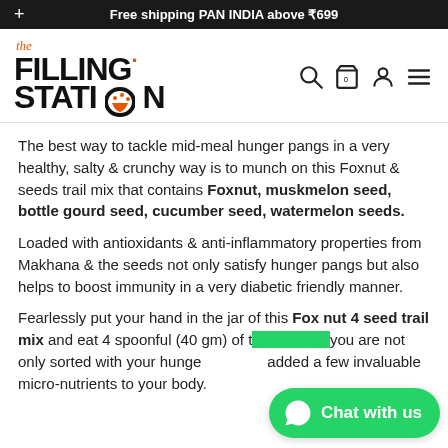Free shipping PAN INDIA above ₹699
[Figure (logo): The Filling Station logo with orange accent and food bowl icon]
The best way to tackle mid-meal hunger pangs in a very healthy, salty & crunchy way is to munch on this Foxnut & seeds trail mix that contains Foxnut, muskmelon seed, bottle gourd seed, cucumber seed, watermelon seeds.
Loaded with antioxidants & anti-inflammatory properties from Makhana & the seeds not only satisfy hunger pangs but also helps to boost immunity in a very diabetic friendly manner.
Fearlessly put your hand in the jar of this Fox nut 4 seed trail mix and eat 4 spoonful (40 gm) of the mix and you are not only sorted with your hunger but also added a few invaluable micro-nutrients to your body.